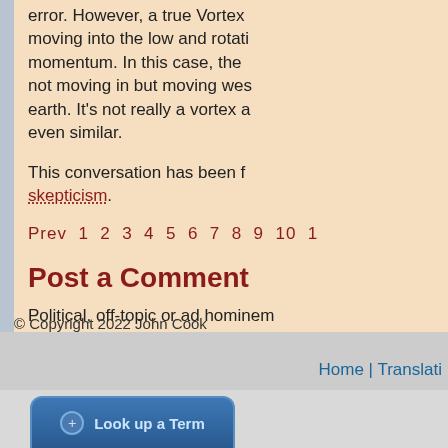error. However, a true Vortex moving into the low and rotati momentum. In this case, the not moving in but moving wes earth. It's not really a vortex a even similar.
This conversation has been f skepticism.
Prev 1 2 3 4 5 6 7 8 9 10 1
Post a Comment
Political, off-topic or ad hominem
You need to be logged in to post a register here.
Link to this page
© Copyright 2022 John Cook
Home | Translati
Look up a Term